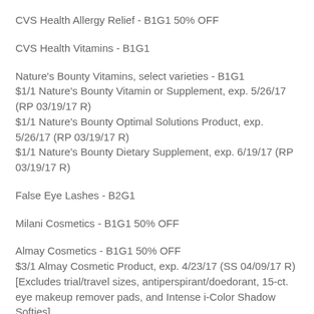CVS Health Allergy Relief - B1G1 50% OFF
CVS Health Vitamins - B1G1
Nature's Bounty Vitamins, select varieties - B1G1
$1/1 Nature's Bounty Vitamin or Supplement, exp. 5/26/17 (RP 03/19/17 R)
$1/1 Nature's Bounty Optimal Solutions Product, exp. 5/26/17 (RP 03/19/17 R)
$1/1 Nature's Bounty Dietary Supplement, exp. 6/19/17 (RP 03/19/17 R)
False Eye Lashes - B2G1
Milani Cosmetics - B1G1 50% OFF
Almay Cosmetics - B1G1 50% OFF
$3/1 Almay Cosmetic Product, exp. 4/23/17 (SS 04/09/17 R)
[Excludes trial/travel sizes, antiperspirant/doedorant, 15-ct. eye makeup remover pads, and Intense i-Color Shadow Softies]